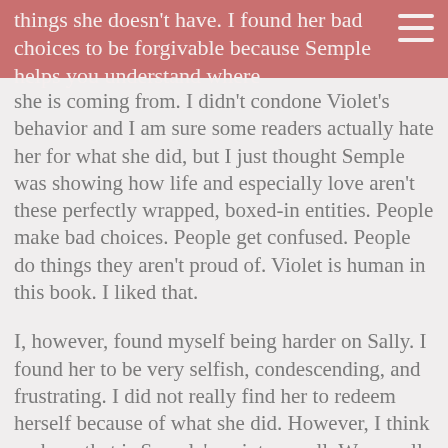things she doesn't have. I found her bad choices to be forgivable because Semple helps you understand where she is coming from. I didn't condone Violet's behavior and I am sure some readers actually hate her for what she did, but I just thought Semple was showing how life and especially love aren't these perfectly wrapped, boxed-in entities. People make bad choices. People get confused. People do things they aren't proud of. Violet is human in this book. I liked that.
I, however, found myself being harder on Sally. I found her to be very selfish, condescending, and frustrating. I did not really find her to redeem herself because of what she did. However, I think perhaps that is Semple's point as well. We are all willing to judge certain people for certain things, yet we can forgive others for equally wrong transgressions. Both females in this book have major, major flaws. It is interesting to see which, if any, character you are willing to forgive and why you are willing to do so.
This is what I like so much about Semple's works. They are complex, and their messages are winding. They make you think because it is clear they have depth, but it isn't